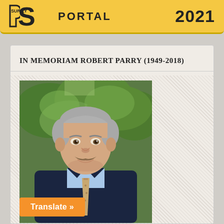PORTAL 2021
IN MEMORIAM ROBERT PARRY (1949-2018)
[Figure (photo): Portrait photograph of Robert Parry, a middle-aged man with gray hair and a mustache, wearing a dark suit and tie, smiling, with green trees in the background.]
Translate »